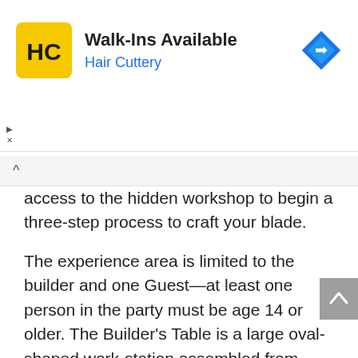[Figure (logo): Hair Cuttery advertisement banner with HC logo, 'Walk-Ins Available' title, 'Hair Cuttery' subtitle in blue, and a blue navigation diamond icon]
access to the hidden workshop to begin a three-step process to craft your blade.
The experience area is limited to the builder and one Guest—at least one person in the party must be age 14 or older. The Builder's Table is a large oval-shaped work-station assembled from ancient pieces salvaged from across the galaxy that can accommodate up to 14 builders at a time.